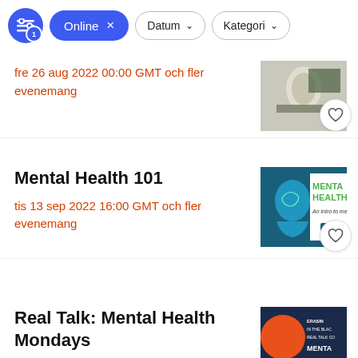Online × | Datum ▾ | Kategori ▾
fre 26 aug 2022 00:00 GMT och fler evenemang
[Figure (photo): Thumbnail image of abstract face sculptures on a dark background]
Mental Health 101
tis 13 sep 2022 16:00 GMT och fler evenemang
[Figure (photo): Mental Health 101 event poster with blue profile head silhouette and green text on teal background, HealthWell logo]
Real Talk: Mental Health Mondays
[Figure (photo): Event poster with orange circle on dark background, text about erasing stigma in the Black community, Real Talk Co., Mental Health]